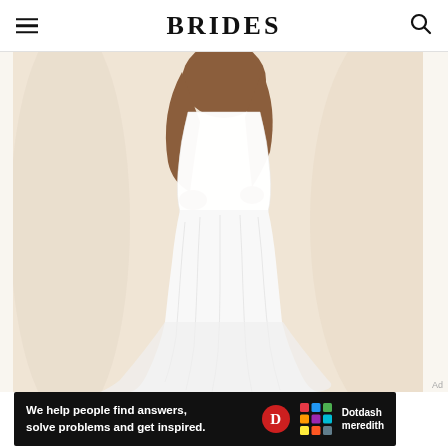BRIDES
[Figure (photo): A model wearing a white lace mermaid-style wedding gown, shown from the torso down. The gown has a fitted silhouette flaring at the bottom with a slight train. Background is soft cream/ivory draped fabric.]
Ad
[Figure (logo): Dotdash Meredith advertisement banner. Black background with white bold text reading 'We help people find answers, solve problems and get inspired.' On the right is the Dotdash Meredith logo: a red circle with white D, a colorful dots/grid icon, and 'Dotdash meredith' in white text.]